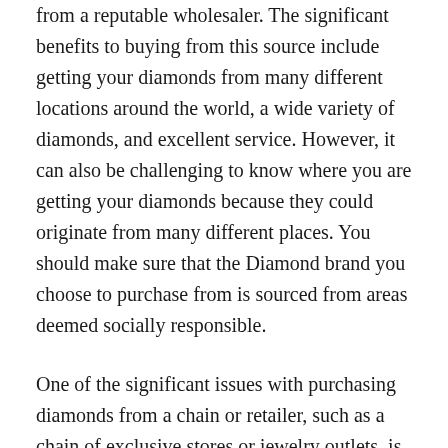from a reputable wholesaler. The significant benefits to buying from this source include getting your diamonds from many different locations around the world, a wide variety of diamonds, and excellent service. However, it can also be challenging to know where you are getting your diamonds because they could originate from many different places. You should make sure that the Diamond brand you choose to purchase from is sourced from areas deemed socially responsible.
One of the significant issues with purchasing diamonds from a chain or retailer, such as a chain of exclusive stores or jewelry outlets, is that you do not know where your diamond originated. In addition, if your diamond comes from a Lab-Grown Diamond, you contribute to making more carbon dioxide and greenhouse gases rather than reducing it. To fight climate change, we need to invest in